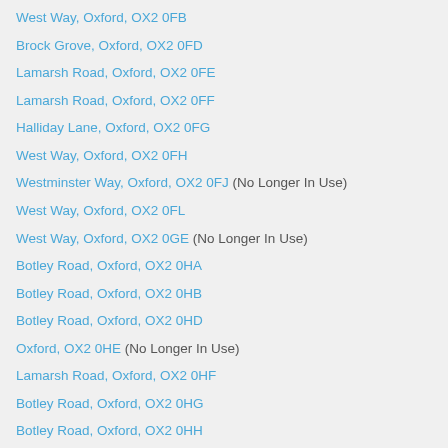West Way, Oxford, OX2 0FB
Brock Grove, Oxford, OX2 0FD
Lamarsh Road, Oxford, OX2 0FE
Lamarsh Road, Oxford, OX2 0FF
Halliday Lane, Oxford, OX2 0FG
West Way, Oxford, OX2 0FH
Westminster Way, Oxford, OX2 0FJ (No Longer In Use)
West Way, Oxford, OX2 0FL
West Way, Oxford, OX2 0GE (No Longer In Use)
Botley Road, Oxford, OX2 0HA
Botley Road, Oxford, OX2 0HB
Botley Road, Oxford, OX2 0HD
Oxford, OX2 0HE (No Longer In Use)
Lamarsh Road, Oxford, OX2 0HF
Botley Road, Oxford, OX2 0HG
Botley Road, Oxford, OX2 0HH